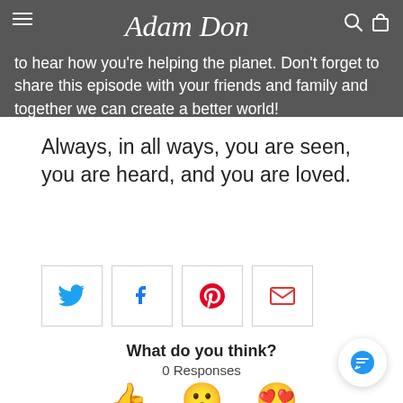to hear how you're helping the planet. Don't forget to share this episode with your friends and family and together we can create a better world!
Always, in all ways, you are seen, you are heard, and you are loved.
[Figure (other): Social sharing buttons: Twitter (blue bird), Facebook (blue f), Pinterest (red P), Email (red envelope)]
What do you think?
0 Responses
[Figure (infographic): Three emoji reaction icons: thumbs up, surprised face, heart-eyes face]